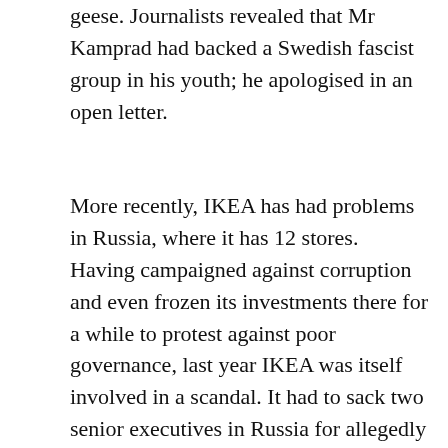geese. Journalists revealed that Mr Kamprad had backed a Swedish fascist group in his youth; he apologised in an open letter.
More recently, IKEA has had problems in Russia, where it has 12 stores. Having campaigned against corruption and even frozen its investments there for a while to protest against poor governance, last year IKEA was itself involved in a scandal. It had to sack two senior executives in Russia for allegedly turning a blind eye to bribes paid by a subcontractor to secure electricity supplies for its St Petersburg outlets.
When damaging news breaks, IKEA has an admirable habit of coming clean. But the firm's ownership structure is opaque. Critics grumble that its set-up minimises tax and disclosure, handsomely rewards the Kamprad family and makes IKEA immune to a takeover. The parent for IKEA Group, which controls 284 stores in 26 countries, is